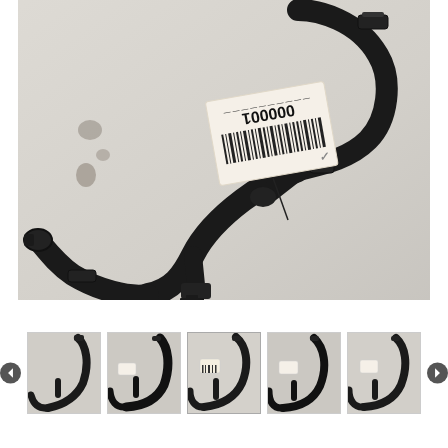[Figure (photo): Main product photo of a black automotive coolant hose/pipe assembly with a tag labeled '000001' and a barcode, placed on a light gray/white surface. The part is a Y-shaped or curved rubber/plastic hose with multiple connection ports and clamps.]
[Figure (photo): Thumbnail 1: Same black automotive coolant hose assembly viewed from a slightly different angle.]
[Figure (photo): Thumbnail 2: Same black automotive coolant hose assembly, another view.]
[Figure (photo): Thumbnail 3: Same part, showing the tag more prominently.]
[Figure (photo): Thumbnail 4: Same part from a wider angle showing more of the assembly.]
[Figure (photo): Thumbnail 5: Same part, slightly different perspective.]